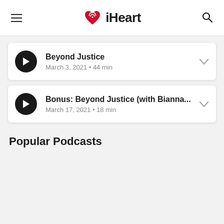[Figure (logo): iHeart logo with red heart icon and radio waves, with hamburger menu on left and search icon on right]
Beyond Justice
March 3, 2021 • 44 min
Bonus: Beyond Justice (with Bianna...
March 17, 2021 • 18 min
Popular Podcasts